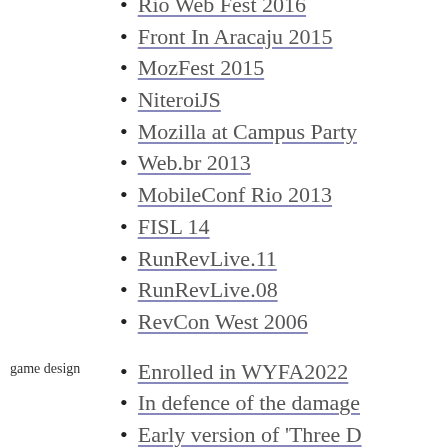Rio Web Fest 2016
Front In Aracaju 2015
MozFest 2015
NiteroiJS
Mozilla at Campus Party
Web.br 2013
MobileConf Rio 2013
FISL 14
RunRevLive.11
RunRevLive.08
RevCon West 2006
game design
Enrolled in WYFA2022
In defence of the damage
Early version of 'Three D